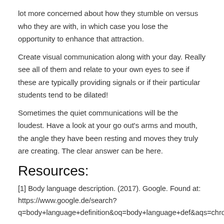lot more concerned about how they stumble on versus who they are with, in which case you lose the opportunity to enhance that attraction.
Create visual communication along with your day. Really see all of them and relate to your own eyes to see if these are typically providing signals or if their particular students tend to be dilated!
Sometimes the quiet communications will be the loudest. Have a look at your go out's arms and mouth, the angle they have been resting and moves they truly are creating. The clear answer can be here.
Resources:
[1] Body language description. (2017). Google. Found at: https://www.google.de/search? q=body+language+definition&oq=body+language+def&aqs=chro